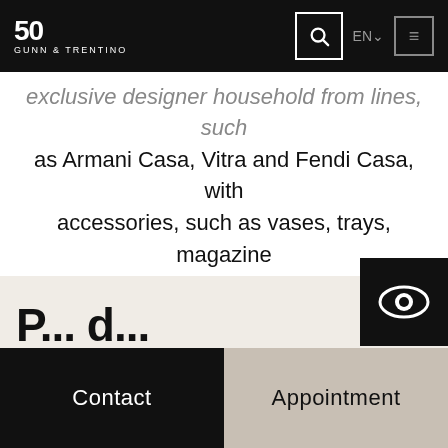50 GUNN & TRENTINO — EN — [navigation icons]
exclusive designer household from lines, such as Armani Casa, Vitra and Fendi Casa, with accessories, such as vases, trays, magazine racks and objects for desks and as gifts.
If you are in the phase of challenging your decoration project, we invite you to see our catalog of designer objects and accessories from the brands we distribute. Our exclusive range of textiles is also irresistible
[Figure (illustration): Eye icon in a black square, used as a UI button overlay]
P... d...
Contact    Appointment